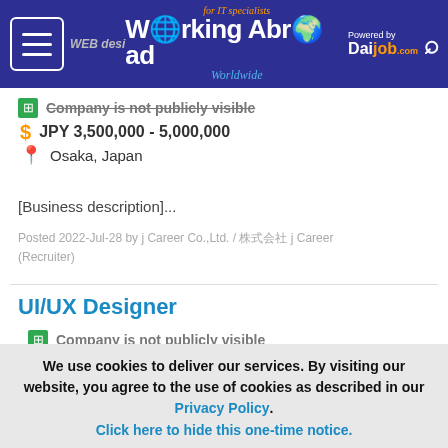Working Abroad - for IT specialists - Powered by Daijob.com
Company is not publicly visible | JPY 3,500,000 - 5,000,000 | Osaka, Japan
[Business description]...
Posted 2022-Jul-28 by j Career Co.,Ltd. / ジェイキャリア j Career (Recruiter)
UI/UX Designer
Company is not publicly visible | JPY 5,000,000 - 8,000,000 | Tokyo, Japan
Starting with website and application design concepts,
We use cookies to deliver our services. By visiting our website, you agree to the use of cookies as described in our Privacy Policy. Click here to hide this one-time notice.